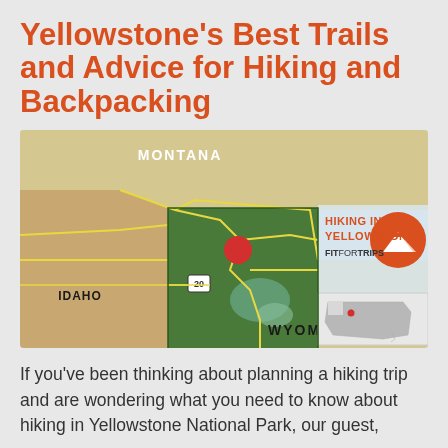Yellowstone's Best Trails and Advice for Hiking and Backpacking
[Figure (map): Map showing Yellowstone National Park region with surrounding states Montana, Idaho, and Wyoming labeled. The park area is highlighted in green with a red location pin marker. A yellow road network is visible. Bottom-right inset shows a small USA map with a pin indicating the park's location. Right side shows 'HIKING IN YELLOWSTONE FITFORTRIPS' text with an orange mountain icon.]
If you’ve been thinking about planning a hiking trip and are wondering what you need to know about hiking in Yellowstone National Park, our guest,